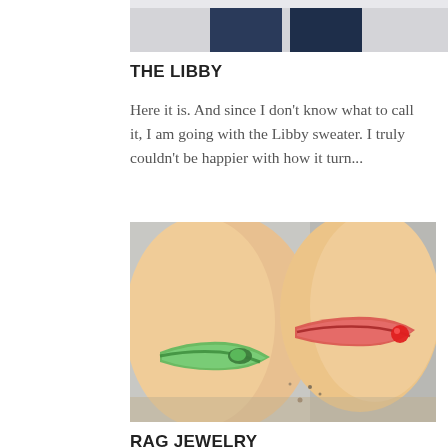[Figure (photo): Top portion of a photo showing two people standing, cropped at ankles/lower legs with jeans visible against a light background]
THE LIBBY
Here it is. And since I don't know what to call it, I am going with the Libby sweater. I truly couldn't be happier with how it turn...
[Figure (photo): Close-up photo of two ankles/feet wearing colorful braided rag jewelry bracelets — one green and one red/orange, against a blurred outdoor background]
RAG JEWELRY